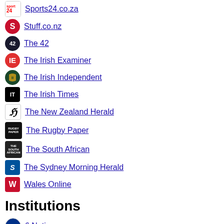Sports24.co.za
Stuff.co.nz
The 42
The Irish Examiner
The Irish Independent
The Irish Times
The New Zealand Herald
The Rugby Paper
The South African
The Sydney Morning Herald
Wales Online
Institutions
6 Nations
Allblacks
Autumn Nations Series
England Rugby
European Professionnal Club Rugby
Irish Rugby
Major League Rugby